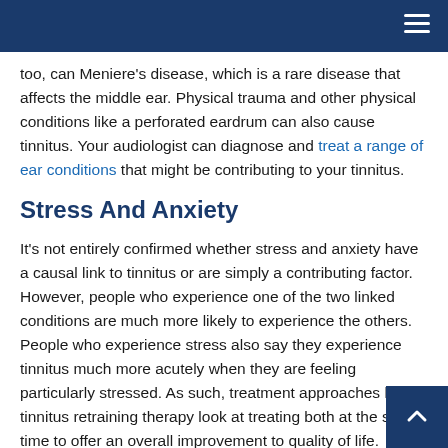too, can Meniere’s disease, which is a rare disease that affects the middle ear. Physical trauma and other physical conditions like a perforated eardrum can also cause tinnitus. Your audiologist can diagnose and treat a range of ear conditions that might be contributing to your tinnitus.
Stress And Anxiety
It’s not entirely confirmed whether stress and anxiety have a causal link to tinnitus or are simply a contributing factor. However, people who experience one of the two linked conditions are much more likely to experience the others. People who experience stress also say they experience tinnitus much more acutely when they are feeling particularly stressed. As such, treatment approaches like tinnitus retraining therapy look at treating both at the same time to offer an overall improvement to quality of life.